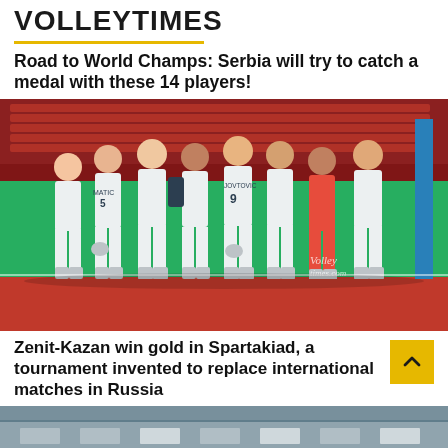VOLLEYTIMES
Road to World Champs: Serbia will try to catch a medal with these 14 players!
[Figure (photo): Volleyball players in white uniforms huddled together on an indoor court with green and red floor, red stadium seats visible in background. Players wearing numbers 5 and 9 visible. One player in red uniform. Volleytimes.com watermark.]
Zenit-Kazan win gold in Spartakiad, a tournament invented to replace international matches in Russia
[Figure (photo): Bottom partial view of a building exterior, grey facade visible.]